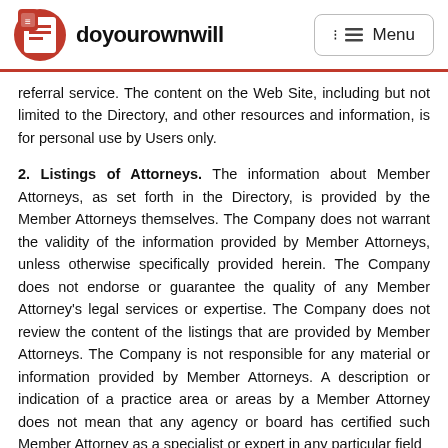doyourownwill | Menu
referral service. The content on the Web Site, including but not limited to the Directory, and other resources and information, is for personal use by Users only.
2. Listings of Attorneys. The information about Member Attorneys, as set forth in the Directory, is provided by the Member Attorneys themselves. The Company does not warrant the validity of the information provided by Member Attorneys, unless otherwise specifically provided herein. The Company does not endorse or guarantee the quality of any Member Attorney's legal services or expertise. The Company does not review the content of the listings that are provided by Member Attorneys. The Company is not responsible for any material or information provided by Member Attorneys. A description or indication of a practice area or areas by a Member Attorney does not mean that any agency or board has certified such Member Attorney as a specialist or expert in any particular field